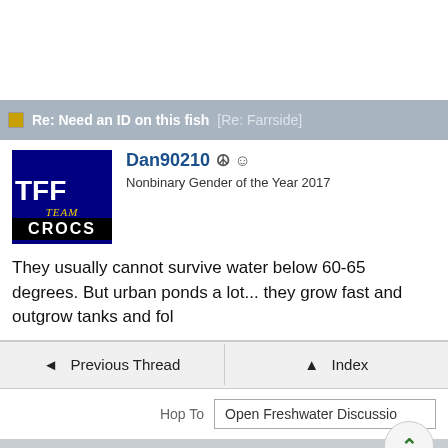Re: Need an ID on this fish [Re: Farrside]
Dan90210 ☮ ☺
Nonbinary Gender of the Year 2017
They usually cannot survive water below 60-65 degrees. But urban ponds a lot... they grow fast and outgrow tanks and fol
◄ Previous Thread   ▲ Index
Hop To   Open Freshwater Discussio
Forum Rules · Mark All Read
© 1998-2022 OUTDOOR SITES NETWORK all rights reserved USA and Worldwide
Powered by UBB.threads™ PHP Forum Software 7.7.3